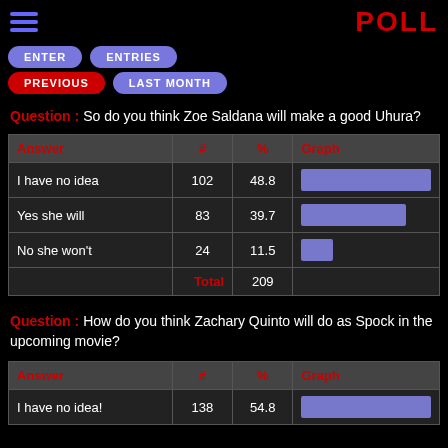POLL
ENTER | ENTRIES | PREVIOUS | LAST MONTH
Question: So do you think Zoe Saldana will make a good Uhura?
| Answer | # | % | Graph |
| --- | --- | --- | --- |
| I have no idea | 102 | 48.8 |  |
| Yes she will | 83 | 39.7 |  |
| No she won't | 24 | 11.5 |  |
|  | Total | 209 |  |
Question: How do you think Zachary Quinto will do as Spock in the upcoming movie?
| Answer | # | % | Graph |
| --- | --- | --- | --- |
| I have no idea! | 138 | 54.8 |  |